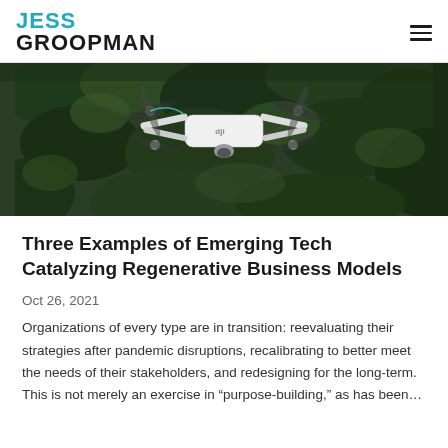JESS GROOPMAN
[Figure (photo): Close-up photograph of a DJI drone in flight against a blurred green leafy background]
Three Examples of Emerging Tech Catalyzing Regenerative Business Models
Oct 26, 2021
Organizations of every type are in transition: reevaluating their strategies after pandemic disruptions, recalibrating to better meet the needs of their stakeholders, and redesigning for the long-term. This is not merely an exercise in “purpose-building,” as has been...